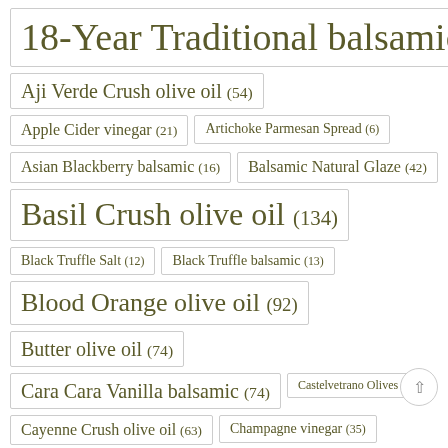18-Year Traditional balsamic (148)
Aji Verde Crush olive oil (54)
Apple Cider vinegar (21)
Artichoke Parmesan Spread (6)
Asian Blackberry balsamic (16)
Balsamic Natural Glaze (42)
Basil Crush olive oil (134)
Black Truffle Salt (12)
Black Truffle balsamic (13)
Blood Orange olive oil (92)
Butter olive oil (74)
Cara Cara Vanilla balsamic (74)
Castelvetrano Olives (4)
Cayenne Crush olive oil (63)
Champagne vinegar (35)
Chipotle olive oil (169)
Cilantro and Onion olive oil (58)